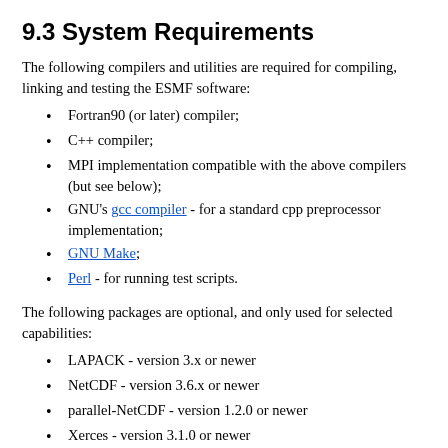9.3 System Requirements
The following compilers and utilities are required for compiling, linking and testing the ESMF software:
Fortran90 (or later) compiler;
C++ compiler;
MPI implementation compatible with the above compilers (but see below);
GNU's gcc compiler - for a standard cpp preprocessor implementation;
GNU Make;
Perl - for running test scripts.
The following packages are optional, and only used for selected capabilities:
LAPACK - version 3.x or newer
NetCDF - version 3.6.x or newer
parallel-NetCDF - version 1.2.0 or newer
Xerces - version 3.1.0 or newer
yaml-cpp - tag yaml-cpp-0.6.2 or newer
Alternatively ESMF can be built using a single-processor MPI-bypass library that comes with ESMF. It allows ESMF applications